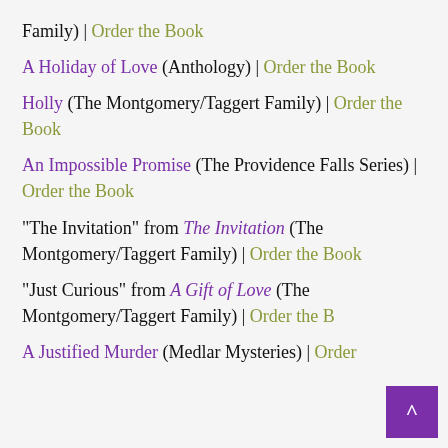Family) | Order the Book
A Holiday of Love (Anthology) | Order the Book
Holly (The Montgomery/Taggert Family) | Order the Book
An Impossible Promise (The Providence Falls Series) | Order the Book
"The Invitation" from The Invitation (The Montgomery/Taggert Family) | Order the Book
"Just Curious" from A Gift of Love (The Montgomery/Taggert Family) | Order the Book
A Justified Murder (Medlar Mysteries) | Order